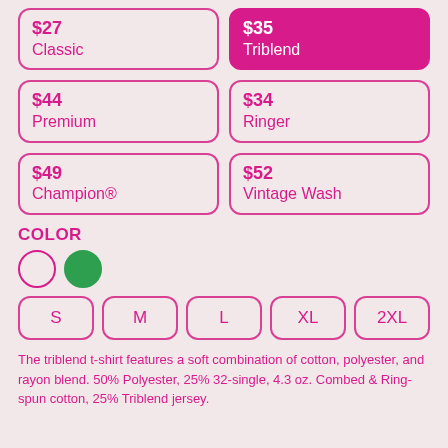$27 Classic
$35 Triblend (selected)
$44 Premium
$34 Ringer
$49 Champion®
$52 Vintage Wash
COLOR
[Figure (illustration): Two color swatches: white circle with pink border, green filled circle]
S
M
L
XL
2XL
The triblend t-shirt features a soft combination of cotton, polyester, and rayon blend. 50% Polyester, 25% 32-single, 4.3 oz. Combed & Ring-spun cotton, 25% Triblend jersey.